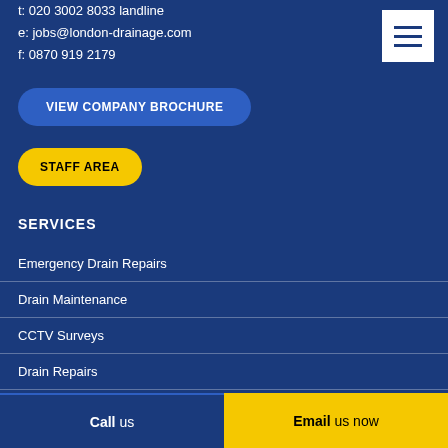t: 020 3002 8033 landline
e: jobs@london-drainage.com
f: 0870 919 2179
[Figure (other): Hamburger menu button icon with three horizontal lines on white background]
VIEW COMPANY BROCHURE
STAFF AREA
SERVICES
Emergency Drain Repairs
Drain Maintenance
CCTV Surveys
Drain Repairs
Excavation Works
Call us
Email us now